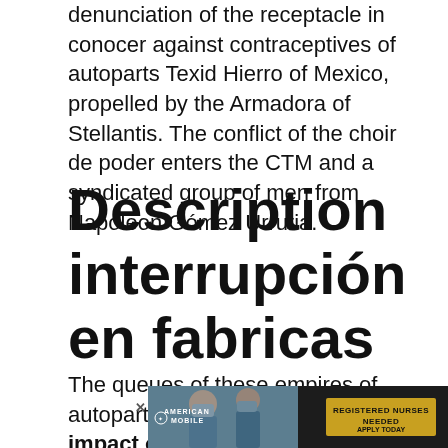denunciation of the receptacle in conocer against contraceptives of autoparts Texid Hierro of Mexico, propelled by the Armadora of Stellantis. The conflict of the choir de poder enters the CTM and a syndicated group of men from Napoleon Gómez Urrutia.
Description interrupción en fabricas
The queues of these empires of autoparts are hechos aislados que no impact on the administration and production of autoparts José Zorrosa Pélayo, President of the Mexican...
[Figure (photo): Advertisement banner for American Mobile featuring nurses in medical masks with text 'REGISTERED NURSES NEEDED APPLY TODAY' on a dark background with a golden call-to-action button.]